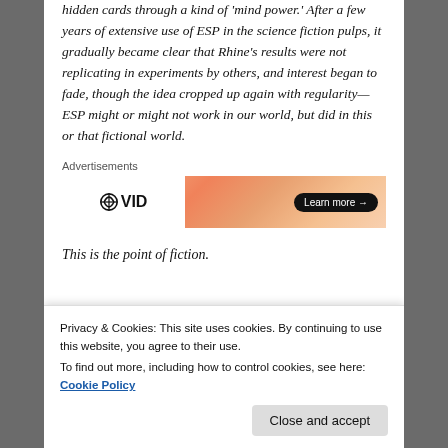hidden cards through a kind of 'mind power.' After a few years of extensive use of ESP in the science fiction pulps, it gradually became clear that Rhine's results were not replicating in experiments by others, and interest began to fade, though the idea cropped up again with regularity—ESP might or might not work in our world, but did in this or that fictional world.
[Figure (other): Advertisement banner for 'VID' with a learn more button, on an orange/pink gradient background]
This is the point of fiction.
(partial obscured text)
Privacy & Cookies: This site uses cookies. By continuing to use this website, you agree to their use.
To find out more, including how to control cookies, see here: Cookie Policy